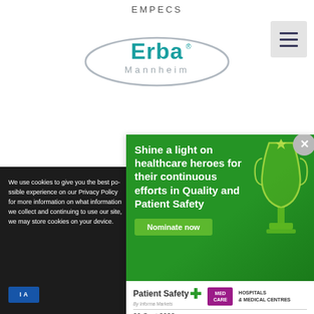EMPECS
[Figure (logo): Erba Mannheim logo — teal ellipse with 'Erba' wordmark and 'Mannheim' text below]
[Figure (screenshot): Hamburger menu button (three horizontal lines) in light grey square]
We use cookies to give you the best possible experience on our website. Please refer to our Privacy Policy for more information on what information we collect and how we use it. By continuing to use our site, we may store cookies on your device.
[Figure (illustration): Advertisement banner: Green background with white bold text 'Shine a light on healthcare heroes for their continuous efforts in Quality and Patient Safety', green 'Nominate now' button, trophy illustration, Patient Safety and MED CARE HOSPITALS & MEDICAL CENTRES logos, date '29 Sept 2022']